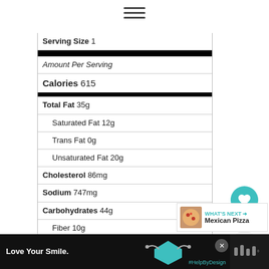[Figure (other): Hamburger menu icon (three horizontal lines)]
| Serving Size | 1 |
| Amount Per Serving |  |
| Calories | 615 |
| Total Fat | 35g |
| Saturated Fat | 12g |
| Trans Fat | 0g |
| Unsaturated Fat | 20g |
| Cholesterol | 86mg |
| Sodium | 747mg |
| Carbohydrates | 44g |
| Fiber | 10g |
[Figure (other): Heart favorite button with teal background]
527
[Figure (other): Share button icon]
WHAT'S NEXT → Mexican Pizza
[Figure (other): Advertisement banner: Love Your Smile. #HelpByDesign]